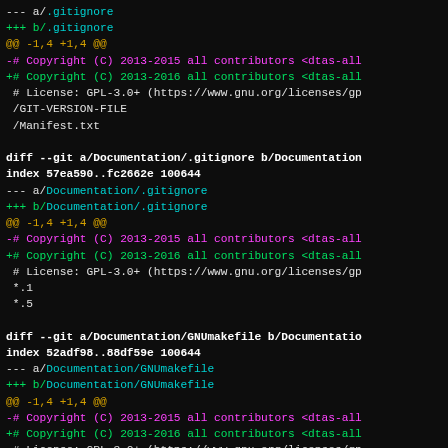--- a/.gitignore
+++ b/.gitignore
@@ -1,4 +1,4 @@
-# Copyright (C) 2013-2015 all contributors <dtas-all...
+# Copyright (C) 2013-2016 all contributors <dtas-all...
 # License: GPL-3.0+ (https://www.gnu.org/licenses/gp...
 /GIT-VERSION-FILE
 /Manifest.txt

diff --git a/Documentation/.gitignore b/Documentation...
index 57ea590..fc2662e 100644
--- a/Documentation/.gitignore
+++ b/Documentation/.gitignore
@@ -1,4 +1,4 @@
-# Copyright (C) 2013-2015 all contributors <dtas-all...
+# Copyright (C) 2013-2016 all contributors <dtas-all...
 # License: GPL-3.0+ (https://www.gnu.org/licenses/gp...
 *.1
 *.5

diff --git a/Documentation/GNUmakefile b/Documentatio...
index 52adf98..88df59e 100644
--- a/Documentation/GNUmakefile
+++ b/Documentation/GNUmakefile
@@ -1,4 +1,4 @@
-# Copyright (C) 2013-2015 all contributors <dtas-all...
+# Copyright (C) 2013-2016 all contributors <dtas-all...
 # License: GPL-3.0+ (https://www.gnu.org/licenses/gp...
 all::